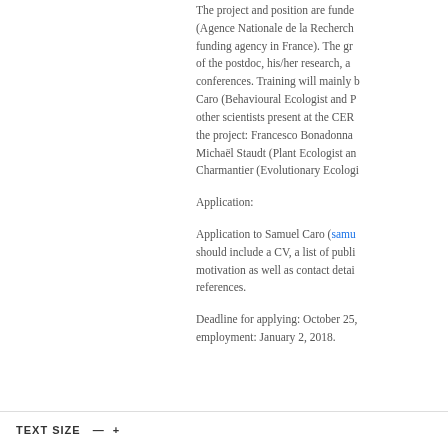The project and position are funded by ANR (Agence Nationale de la Recherche, the main funding agency in France). The grant covers travel of the postdoc, his/her research, as well as conferences. Training will mainly be by Samuel Caro (Behavioural Ecologist and PI) and the other scientists present at the CEFE and linked to the project: Francesco Bonadonna, Michaël Staudt (Plant Ecologist and Chemist), Anne Charmantier (Evolutionary Ecologist).
Application:
Application to Samuel Caro (samuel...) should include a CV, a list of publications, a motivation as well as contact details of references.
Deadline for applying: October 25, ... employment: January 2, 2018.
TEXT SIZE  —  +